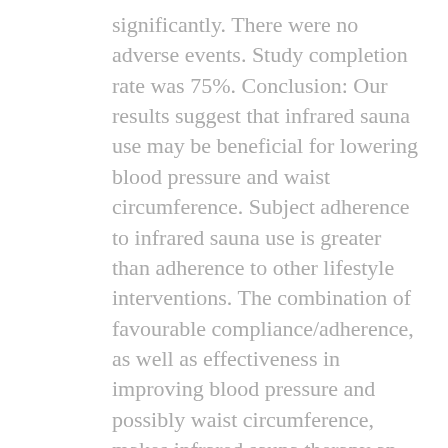significantly. There were no adverse events. Study completion rate was 75%. Conclusion: Our results suggest that infrared sauna use may be beneficial for lowering blood pressure and waist circumference. Subject adherence to infrared sauna use is greater than adherence to other lifestyle interventions. The combination of favourable compliance/adherence, as well as effectiveness in improving blood pressure and possibly waist circumference, makes infrared sauna therapy an attractive lifestyle option.